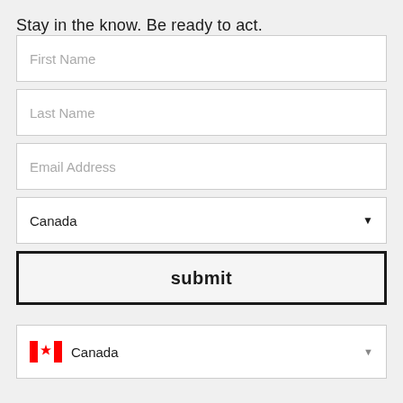Stay in the know. Be ready to act.
First Name
Last Name
Email Address
Canada
submit
Canada